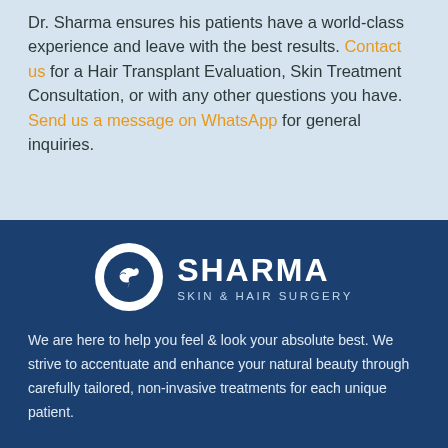Dr. Sharma ensures his patients have a world-class experience and leave with the best results. Contact us for a Hair Transplant Evaluation, Skin Treatment Consultation, or with any other questions you have. Send us a message on WhatsApp for general inquiries.
[Figure (logo): Sharma Skin & Hair Surgery logo: white circle with a bird/feather icon, next to bold white text 'SHARMA' and smaller text 'SKIN & HAIR SURGERY' on a dark blue background]
We are here to help you feel & look your absolute best. We strive to accentuate and enhance your natural beauty through carefully tailored, non-invasive treatments for each unique patient.